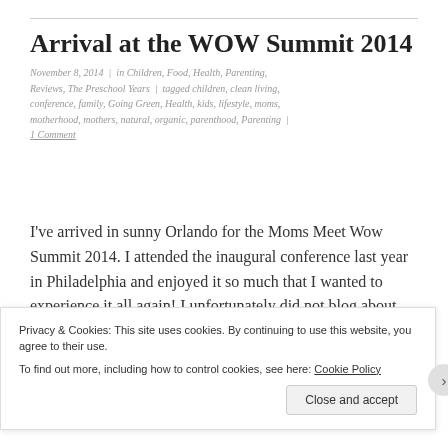Arrival at the WOW Summit 2014
November 8, 2014 | in Children, Food, Health, Parenting, Reviews, The Preschool Years | tagged children, clean living, conference, family, Going Green, Health, kids, lifestyle, moms, motherhood, mothers, natural, organic, parenthood, Parenting | 1 Comment
I've arrived in sunny Orlando for the Moms Meet Wow Summit 2014. I attended the inaugural conference last year in Philadelphia and enjoyed it so much that I wanted to experience it all again! I unfortunately did not blog about the experience last year so I'm excited this time around to share
Privacy & Cookies: This site uses cookies. By continuing to use this website, you agree to their use.
To find out more, including how to control cookies, see here: Cookie Policy